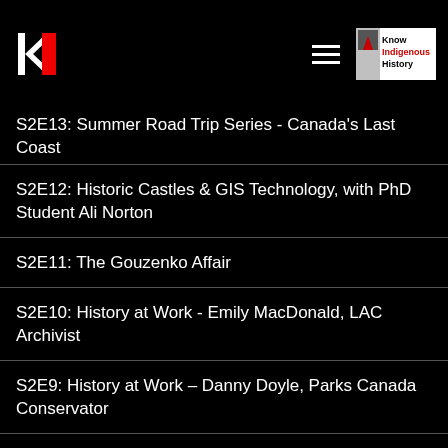KH | Know Indigenous History
S2E13: Summer Road Trip Series - Canada's Last Coast
S2E12: Historic Castles & GIS Technology, with PhD Student Ali Norton
S2E11: The Gouzenko Affair
S2E10: History at Work - Emily MacDonald, LAC Archivist
S2E9: History at Work – Danny Doyle, Parks Canada Conservator
S2E8: History at Work – Candice McCavitt of Heritage Toronto
S2E7: Canada's Charitable History
S2E6: History at Work - Teaching History with Grant Rivard